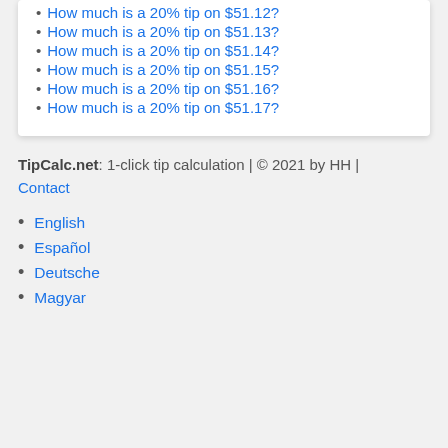How much is a 20% tip on $51.12?
How much is a 20% tip on $51.13?
How much is a 20% tip on $51.14?
How much is a 20% tip on $51.15?
How much is a 20% tip on $51.16?
How much is a 20% tip on $51.17?
TipCalc.net: 1-click tip calculation | © 2021 by HH | Contact
English
Español
Deutsche
Magyar